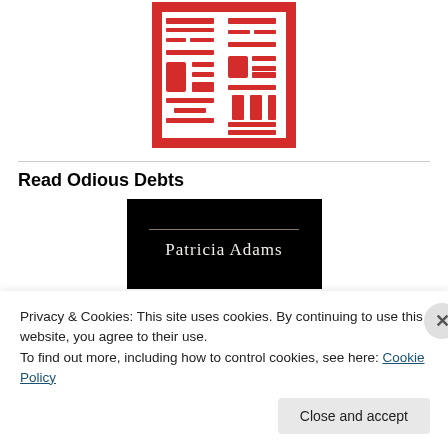[Figure (logo): Red Chinese seal stamp with traditional characters in red ink on white background]
Read Odious Debts
[Figure (photo): Book cover with black background showing author name 'Patricia Adams' in white serif text with a thin horizontal line above]
Privacy & Cookies: This site uses cookies. By continuing to use this website, you agree to their use.
To find out more, including how to control cookies, see here: Cookie Policy